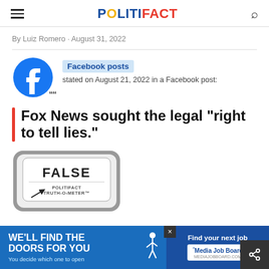POLITIFACT
By Luiz Romero · August 31, 2022
Facebook posts stated on August 21, 2022 in a Facebook post:
Fox News sought the legal "right to tell lies."
[Figure (illustration): PolitiFact Truth-O-Meter rating showing FALSE]
[Figure (infographic): Advertisement banner: WE'LL FIND THE DOORS FOR YOU / You decide which one to open / Find your next job / Media Job Board]